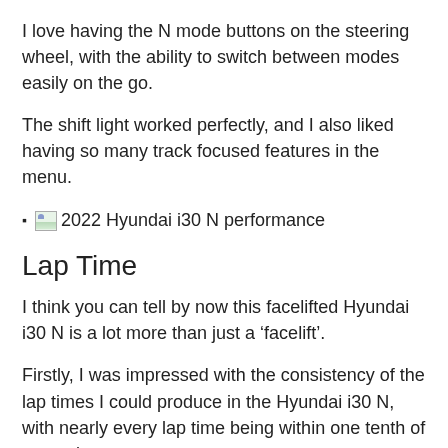I love having the N mode buttons on the steering wheel, with the ability to switch between modes easily on the go.
The shift light worked perfectly, and I also liked having so many track focused features in the menu.
2022 Hyundai i30 N performance
Lap Time
I think you can tell by now this facelifted Hyundai i30 N is a lot more than just a ‘facelift’.
Firstly, I was impressed with the consistency of the lap times I could produce in the Hyundai i30 N, with nearly every lap time being within one tenth of second.
Secondly, I was impressed with the effort the Hyundai has gone to improve the track performance of the i30 N. The